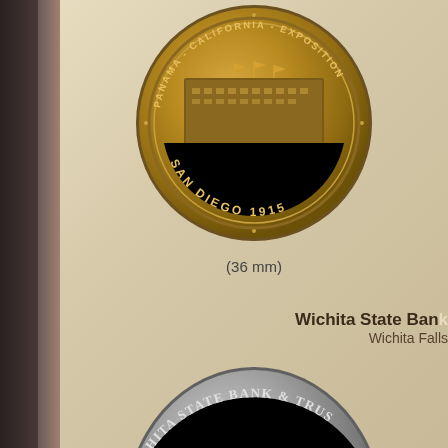[Figure (photo): Bronze medal/coin for Panama-California Exposition, San Diego 1915, Home Economy Building, 36mm diameter]
(36 mm)
Wichita State Bank
Wichita Falls
[Figure (photo): Silver/nickel coin for Wichita State Bank & Trust, partially visible showing top arc of coin]